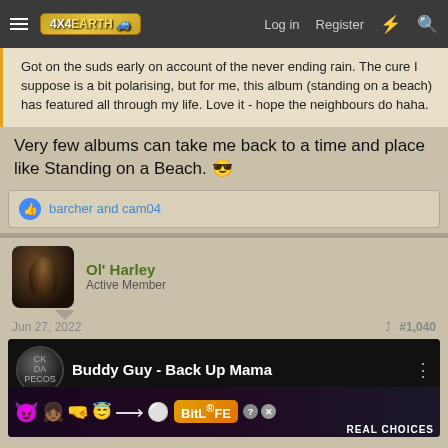4X4EARTH — Log in  Register
Got on the suds early on account of the never ending rain. The cure I suppose is a bit polarising, but for me, this album (standing on a beach) has featured all through my life. Love it - hope the neighbours do haha.
Very few albums can take me back to a time and place like Standing on a Beach. 😎
👍 barcher and cam04
Ol' Harley
Active Member
Jun 27, 2022   #1,040
[Figure (screenshot): Embedded YouTube video: Buddy Guy - Back Up Mama with BitLife advertisement overlay]